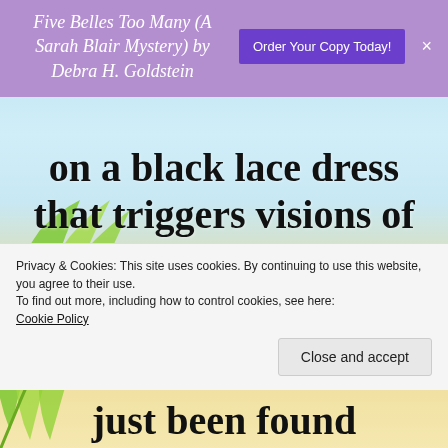Five Belles Too Many (A Sarah Blair Mystery) by Debra H. Goldstein
on a black lace dress that triggers visions of someone being murdered. As if the haunted “Murder
Privacy & Cookies: This site uses cookies. By continuing to use this website, you agree to their use.
To find out more, including how to control cookies, see here: Cookie Policy
Close and accept
just been found